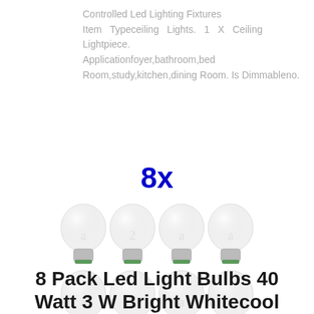Controlled Led Lighting Fixtures Item Typeceiling Lights. 1 X Ceiling Lightpiece. Applicationfoyer,bathroom,bed Room,study,kitchen,dining Room. Is Dimmableno.
[Figure (photo): 8 LED light bulbs arranged in two rows of 4, with '8x' label in blue bold text above them. Bulbs are white/frosted A19 style with silver-green metallic bases.]
8 Pack Led Light Bulbs 40 Watt 3 W Bright Whitecool